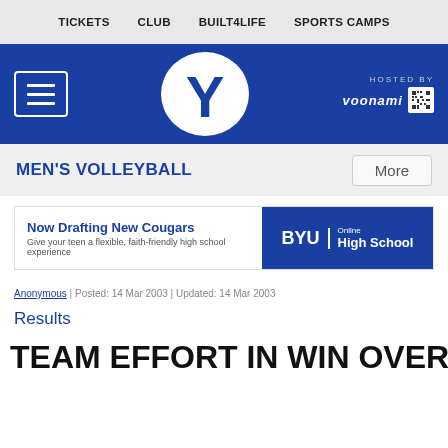TICKETS   CLUB   BUILT4LIFE   SPORTS CAMPS
[Figure (logo): BYU blue header with hamburger menu, BYU Y logo, and Hosted By Voonami branding]
MEN'S VOLLEYBALL
[Figure (infographic): BYU Online High School advertisement: Now Drafting New Cougars - Give your teen a flexible, faith-friendly high school experience]
Anonymous | Posted: 14 Mar 2003 | Updated: 14 Mar 2003
Results
TEAM EFFORT IN WIN OVER UC IRV